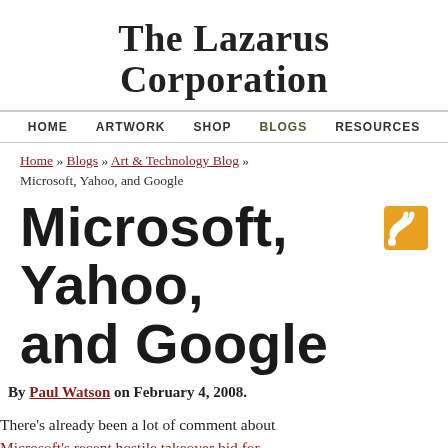The Lazarus Corporation
HOME  ARTWORK  SHOP  BLOGS  RESOURCES
Home » Blogs » Art & Technology Blog » Microsoft, Yahoo, and Google
Microsoft, Yahoo, and Google
By Paul Watson on February 4, 2008.
There's already been a lot of comment about Microsoft's recent hostile takeover bid for